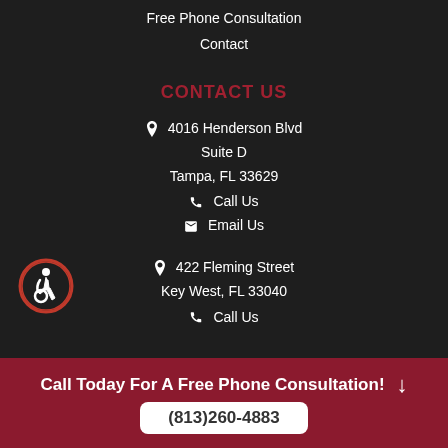Free Phone Consultation
Contact
CONTACT US
📍 4016 Henderson Blvd
Suite D
Tampa, FL 33629
📞 Call Us
✉ Email Us
📍 422 Fleming Street
Key West, FL 33040
📞 Call Us
Call Today For A Free Phone Consultation!
(813)260-4883